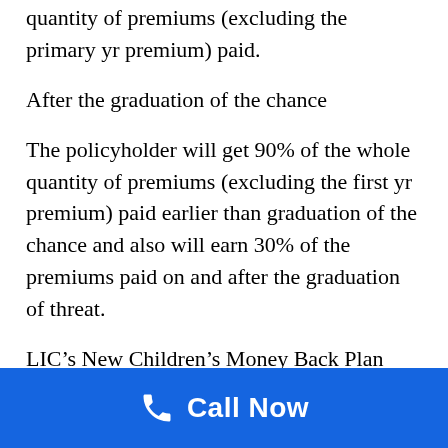quantity of premiums (excluding the primary yr premium) paid.
After the graduation of the chance
The policyholder will get 90% of the whole quantity of premiums (excluding the first yr premium) paid earlier than graduation of the chance and also will earn 30% of the premiums paid on and after the graduation of threat.
LIC’s New Children’s Money Back Plan (desk No.832)
[Figure (other): Blue call-to-action bar with phone icon and 'Call Now' text in white on a blue background]